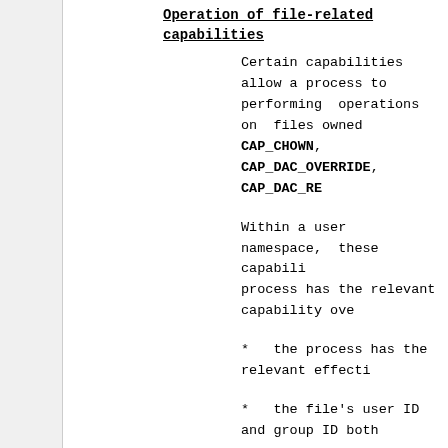Operation of file-related capabilities
Certain capabilities allow a process to performing operations on files owned CAP_CHOWN, CAP_DAC_OVERRIDE, CAP_DAC_RE
Within a user namespace, these capabili process has the relevant capability ove
* the process has the relevant effecti
* the file's user ID and group ID both
The CAP_FOWNER capability is treated so the corresponding rules so long as at l namespace (i.e., the file's group ID do
Set-user-ID and set-group-ID programs
When a process inside a user namespace process's effective user (group) ID ins